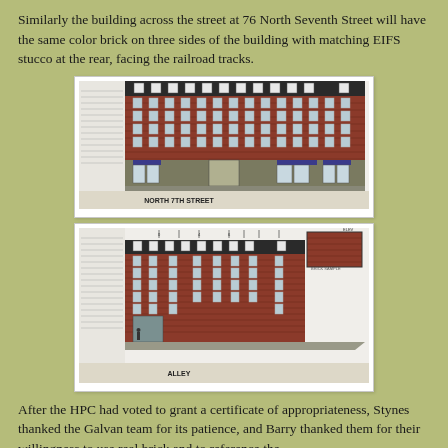Similarly the building across the street at 76 North Seventh Street will have the same color brick on three sides of the building with matching EIFS stucco at the rear, facing the railroad tracks.
[Figure (engineering-diagram): Architectural elevation drawing of a multi-story brick building, labeled 'NORTH 7TH STREET' at the bottom. Shows front facade with multiple floors of windows, decorative cornice, and ground floor retail/storefront with awnings.]
[Figure (engineering-diagram): Architectural elevation drawing of the same multi-story brick building viewed from the alley side, labeled 'ALLEY' at the bottom. Shows rear facade with windows and a brick material sample inset in the upper right corner.]
After the HPC had voted to grant a certificate of appropriateness, Stynes thanked the Galvan team for its patience, and Barry thanked them for their willingness to use real brick and to reference the